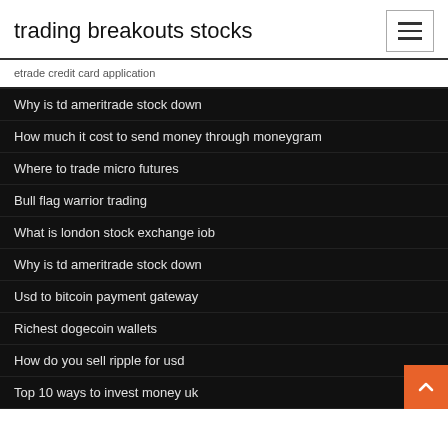trading breakouts stocks
etrade credit card application
Why is td ameritrade stock down
How much it cost to send money through moneygram
Where to trade micro futures
Bull flag warrior trading
What is london stock exchange iob
Why is td ameritrade stock down
Usd to bitcoin payment gateway
Richest dogecoin wallets
How do you sell ripple for usd
Top 10 ways to invest money uk